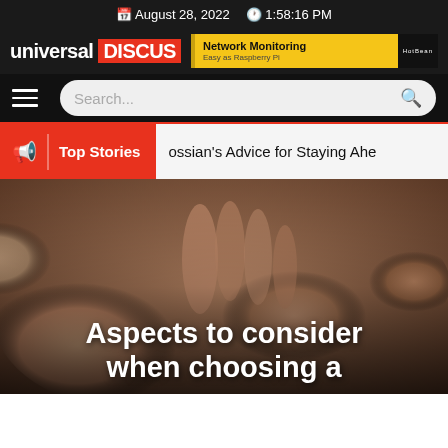August 28, 2022  1:58:16 PM
[Figure (logo): Universal Discus logo with red background on DISCUS text, and a Network Monitoring advertisement banner]
[Figure (screenshot): Website navigation bar with hamburger menu and search box]
Top Stories
ossian's Advice for Staying Ahe
[Figure (photo): Close-up photo of hands (likely a massage or medical context) with blurred background]
Aspects to consider when choosing a